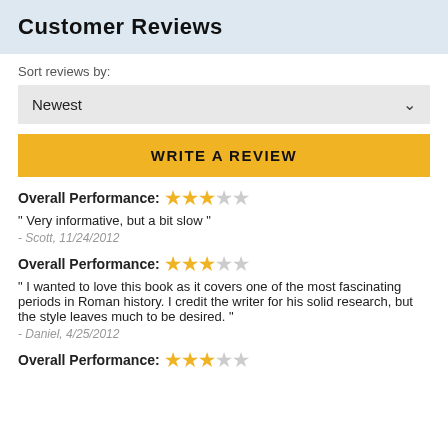Customer Reviews
Sort reviews by:
Newest
WRITE A REVIEW
Overall Performance: ★★★☆☆
" Very informative, but a bit slow "
- Scott, 11/24/2012
Overall Performance: ★★★☆☆
" I wanted to love this book as it covers one of the most fascinating periods in Roman history. I credit the writer for his solid research, but the style leaves much to be desired. "
- Daniel, 4/25/2012
Overall Performance: ★★★☆☆